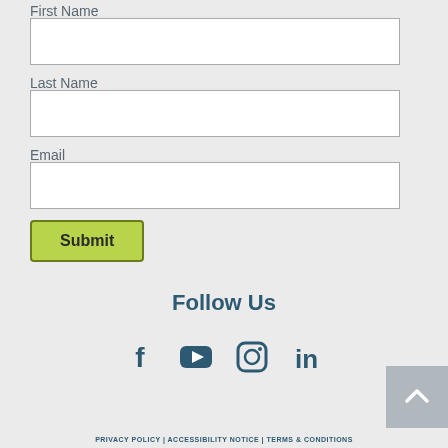First Name
[Figure (other): Empty text input field for First Name]
Last Name
[Figure (other): Empty text input field for Last Name]
Email
[Figure (other): Empty text input field for Email]
[Figure (other): Green Submit button]
Follow Us
[Figure (other): Social media icons: Facebook, YouTube, Instagram, LinkedIn]
PRIVACY POLICY | ACCESSIBILITY NOTICE | TERMS & CONDITIONS